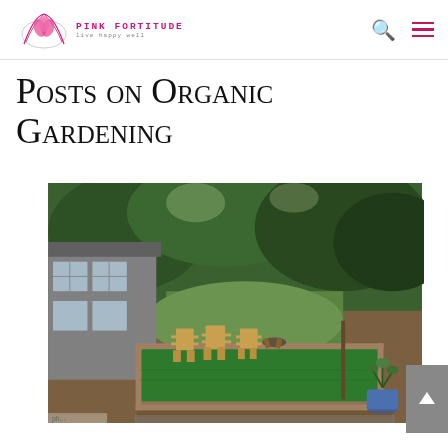Pink Fortitude — live happy well
Posts on Organic Gardening
[Figure (photo): Backyard garden with a long raised garden bed covered in green material, surrounded by wooden Adirondack chairs and a fire pit, with trees and a screened-in porch in the background]